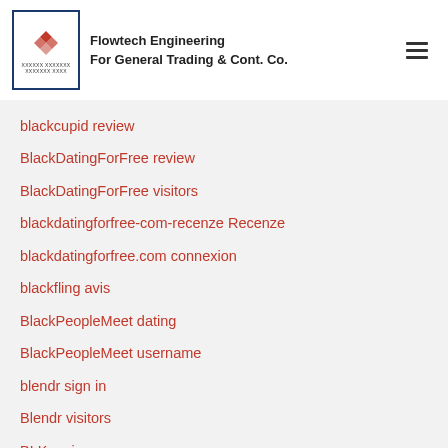Flowtech Engineering For General Trading & Cont. Co.
christianpeoplemeet connexion
christianpeoplet review
paid login
blackcupid review
BlackDatingForFree review
BlackDatingForFree visitors
blackdatingforfree-com-recenze Recenze
blackdatingforfree.com connexion
blackfling avis
BlackPeopleMeet dating
BlackPeopleMeet username
blendr sign in
Blendr visitors
BLK reviews